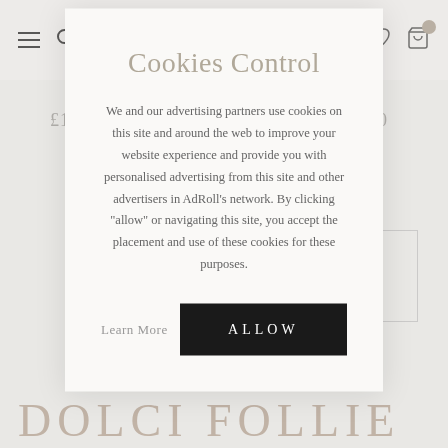DOLCI FOLLIE
£133.50
£32.50
Cookies Control
We and our advertising partners use cookies on this site and around the web to improve your website experience and provide you with personalised advertising from this site and other advertisers in AdRoll's network. By clicking "allow" or navigating this site, you accept the placement and use of these cookies for these purposes.
Learn More
ALLOW
DOLCI FOLLIE